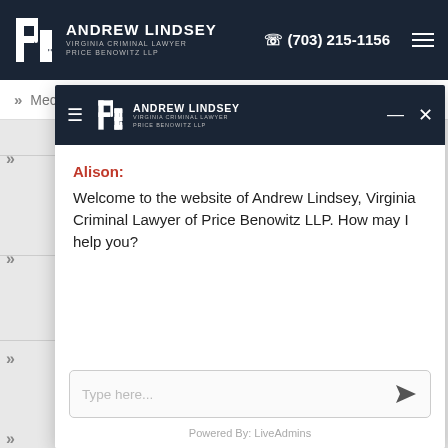Andrew Lindsey Virginia Criminal Lawyer Price Benowitz LLP | (703) 215-1156
Mecklenburg DUI
[Figure (screenshot): Chat widget overlay from Andrew Lindsey Virginia Criminal Lawyer Price Benowitz LLP website showing a chatbot greeting from Alison.]
Alison:
Welcome to the website of Andrew Lindsey, Virginia Criminal Lawyer of Price Benowitz LLP. How may I help you?
Type here...
Powered By: LiveAdmins